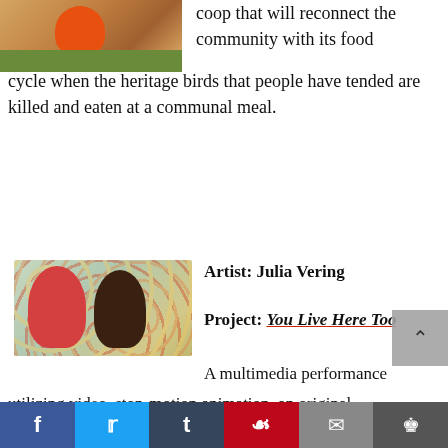[Figure (photo): Partial photo showing orange and brown tones, appears to be farm/outdoor scene]
coop that will reconnect the community with its food cycle when the heritage birds that people have tended are killed and eaten at a communal meal.
[Figure (photo): Two illustrated/painted female figures — one with red hair and one with dark hair — against a colorful floral background]
Artist: Julia Vering
Project: You Live Here Too
A multimedia performance utilizing video, stop-motion animation, an original score, and local senior citizens as actors and oral historians, examining the construction of identities
f  t  p  email  bookmark